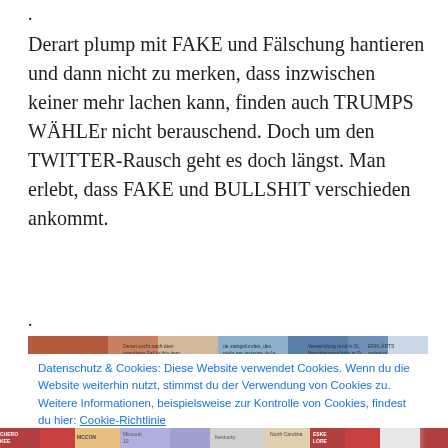.
Derart plump mit FAKE und Fälschung hantieren und dann nicht zu merken, dass inzwischen keiner mehr lachen kann, finden auch TRUMPS WÄHLEr nicht berauschend. Doch um den TWITTER-Rausch geht es doch längst. Man erlebt, dass FAKE und BULLSHIT verschieden ankommt.
.
[Figure (map): Top strip of a map image, partially visible, showing colored regions (political/geographic map).]
Datenschutz & Cookies: Diese Website verwendet Cookies. Wenn du die Website weiterhin nutzt, stimmst du der Verwendung von Cookies zu. Weitere Informationen, beispielsweise zur Kontrolle von Cookies, findest du hier: Cookie-Richtlinie
Schließen und Akzeptieren
[Figure (map): Bottom strip of a map image, partially visible, showing US state regions with labels like CHEROKEE, ESKELORE, etc.]